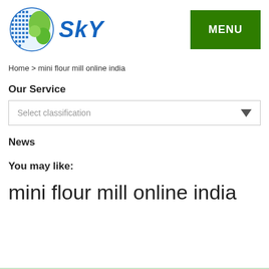[Figure (logo): SKY company logo with globe icon and blue italic SKY text, plus green MENU button]
Home > mini flour mill online india
Our Service
Select classification
News
You may like:
mini flour mill online india